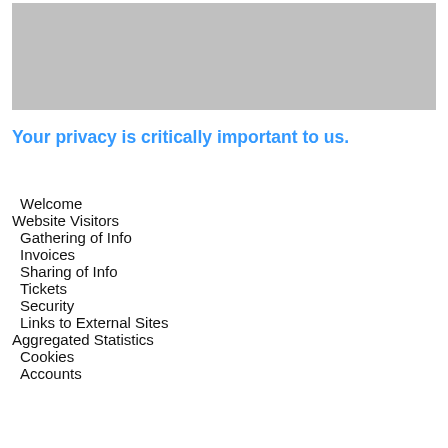[Figure (other): Gray placeholder image box at top of page]
Your privacy is critically important to us.
Welcome
Website Visitors
Gathering of Info
Invoices
Sharing of Info
Tickets
Security
Links to External Sites
Aggregated Statistics
Cookies
Accounts